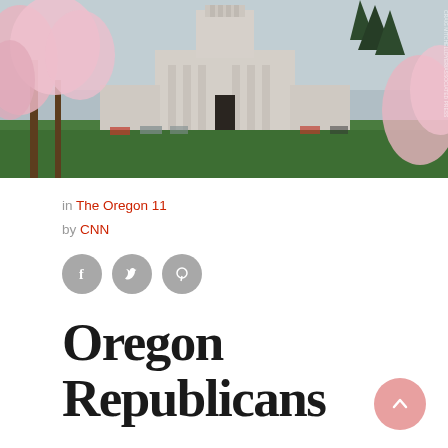[Figure (photo): Oregon State Capitol building in Salem with cherry blossom trees in the foreground, green lawn, parked cars visible]
in The Oregon 11
by CNN
[Figure (infographic): Social media share buttons: Facebook, Twitter, Pinterest — gray circular icons]
Oregon Republicans